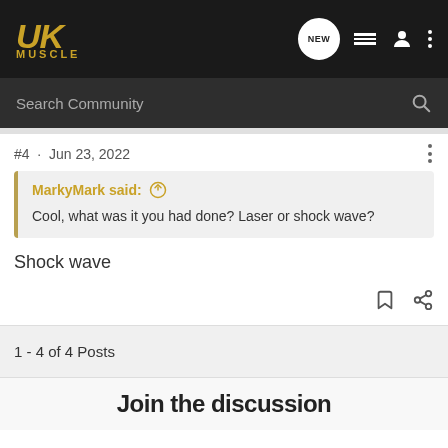UK MUSCLE — Search Community
#4 · Jun 23, 2022
MarkyMark said: Cool, what was it you had done? Laser or shock wave?
Shock wave
1 - 4 of 4 Posts
Join the discussion